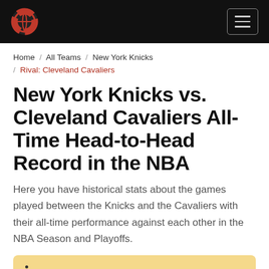NBA Stats – Navigation bar with logo and hamburger menu
Home / All Teams / New York Knicks / Rival: Cleveland Cavaliers
New York Knicks vs. Cleveland Cavaliers All-Time Head-to-Head Record in the NBA
Here you have historical stats about the games played between the Knicks and the Cavaliers with their all-time performance against each other in the NBA Season and Playoffs.